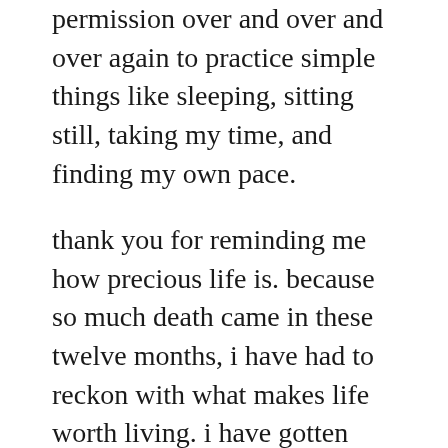permission over and over and over again to practice simple things like sleeping, sitting still, taking my time, and finding my own pace.
thank you for reminding me how precious life is. because so much death came in these twelve months, i have had to reckon with what makes life worth living. i have gotten clearer on what matters to me, what i want to spend my life doing, and what i love.
thank you for teaching me about love. i love being alive, and many of the ways humans are living – i am so grateful that i give fucks, that i love the earth, that i dream of and practice justice, that i can laugh in almost any circumstance. i am grateful that i can feel this